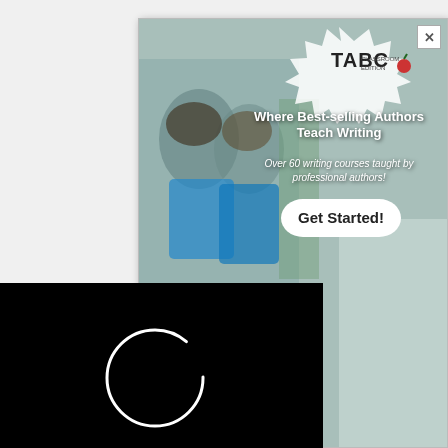[Figure (screenshot): Advertisement overlay for TABC Classroom Edition showing students with text 'Where Best-selling Authors Teach Writing' and 'Get Started!' button]
[Figure (screenshot): Black video player overlay with circular loading spinner]
ay of checking your blood sugar.
Blood Sugar Levels: What's Normal What's Not And How To Measure
CLOSE